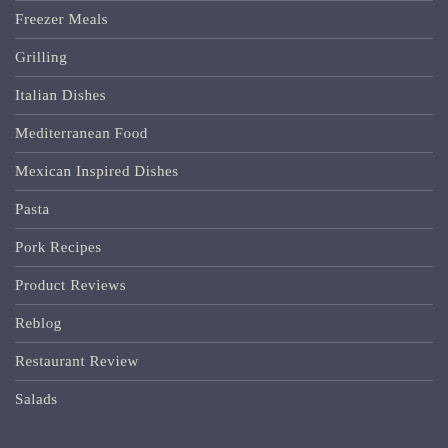Freezer Meals
Grilling
Italian Dishes
Mediterranean Food
Mexican Inspired Dishes
Pasta
Pork Recipes
Product Reviews
Reblog
Restaurant Review
Salads